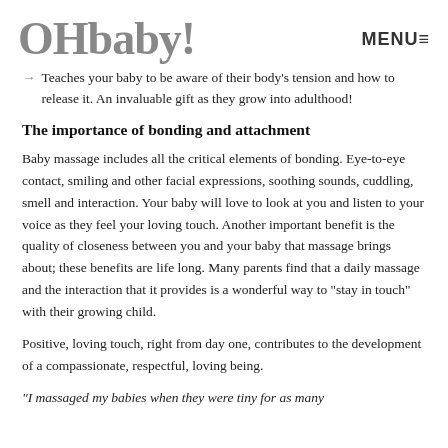OHbaby! MENU≡
Teaches your baby to be aware of their body's tension and how to release it. An invaluable gift as they grow into adulthood!
The importance of bonding and attachment
Baby massage includes all the critical elements of bonding. Eye-to-eye contact, smiling and other facial expressions, soothing sounds, cuddling, smell and interaction. Your baby will love to look at you and listen to your voice as they feel your loving touch. Another important benefit is the quality of closeness between you and your baby that massage brings about; these benefits are life long. Many parents find that a daily massage and the interaction that it provides is a wonderful way to "stay in touch" with their growing child.
Positive, loving touch, right from day one, contributes to the development of a compassionate, respectful, loving being.
"I massaged my babies when they were tiny for as many